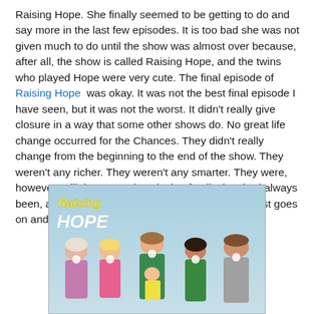Raising Hope. She finally seemed to be getting to do and say more in the last few episodes. It is too bad she was not given much to do until the show was almost over because, after all, the show is called Raising Hope, and the twins who played Hope were very cute. The final episode of Raising Hope was okay. It was not the best final episode I have seen, but it was not the worst. It didn't really give closure in a way that some other shows do. No great life change occurred for the Chances. They didn't really change from the beginning to the end of the show. They weren't any richer. They weren't any smarter. They were, however, still the same close loving family they had always been, and maybe that is enough. Sometimes, life just goes on and that's a good thing.
[Figure (photo): Promotional image for the TV show 'Raising Hope' showing five cast members — an older woman, a young blonde woman, a man holding a baby, a young dark-haired woman, and a young man — all blowing bubbles with bubble gum, against a light blue background. The show title 'Raising Hope' is displayed in yellow and white text in the upper left.]